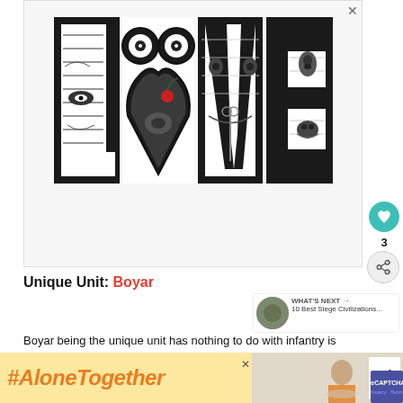[Figure (illustration): Decorative 'LOVE' text artwork with intricate black-and-white illustrative patterns inside each letter, with a heart shape forming the 'O'. Small red cherry/apple accent visible.]
Unique Unit: Boyar
WHAT'S NEXT → 10 Best Siege Civilizations...
Boyar being the unique unit has nothing to do with infantry is to whit h...
[Figure (illustration): Bottom banner ad with '#AloneTogether' text in orange italic bold font on yellow/cream background, with a photo of a woman on the right side and a close button.]